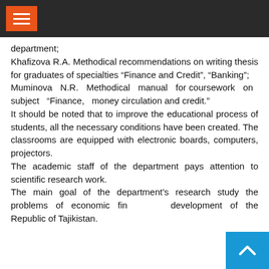department;
Khafizova R.A. Methodical recommendations on writing thesis for graduates of specialties “Finance and Credit”, “Banking”;
Muminova N.R. Methodical manual for coursework on subject “Finance, money circulation and credit.”
It should be noted that to improve the educational process of students, all the necessary conditions have been created. The classrooms are equipped with electronic boards, computers, projectors.
The academic staff of the department pays attention to scientific research work.
The main goal of the department’s research study the problems of economic financial development of the Republic of Tajikistan.